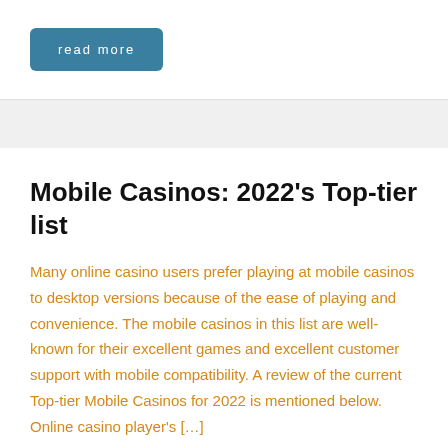read more
Mobile Casinos: 2022’s Top-tier list
Many online casino users prefer playing at mobile casinos to desktop versions because of the ease of playing and convenience. The mobile casinos in this list are well-known for their excellent games and excellent customer support with mobile compatibility. A review of the current Top-tier Mobile Casinos for 2022 is mentioned below. Online casino player’s […]
read more